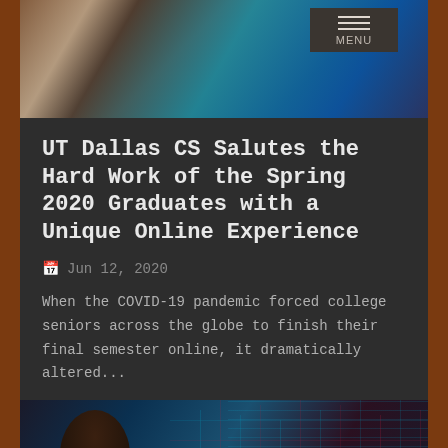[Figure (photo): Hands typing on a laptop keyboard, top-down view with blue/teal digital overlay]
[Figure (screenshot): MENU navigation button with three horizontal lines icon on dark background]
UT Dallas CS Salutes the Hard Work of the Spring 2020 Graduates with a Unique Online Experience
Jun 12, 2020
When the COVID-19 pandemic forced college seniors across the globe to finish their final semester online, it dramatically altered...
READ MORE
Event
[Figure (photo): Person wearing glasses in front of a digital data/network blue background]